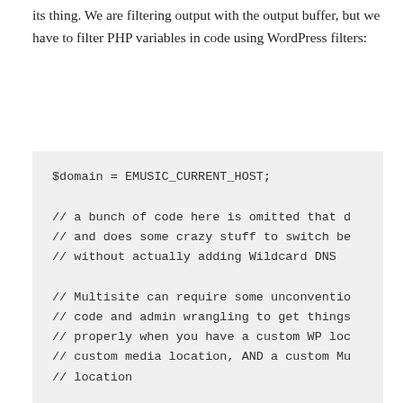its thing. We are filtering output with the output buffer, but we have to filter PHP variables in code using WordPress filters: